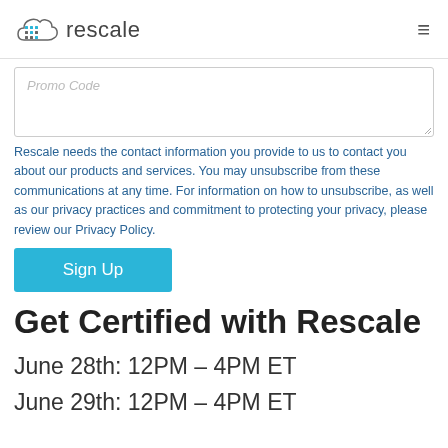rescale
[Figure (screenshot): Promo Code text input field (partially visible, cropped at top)]
Rescale needs the contact information you provide to us to contact you about our products and services. You may unsubscribe from these communications at any time. For information on how to unsubscribe, as well as our privacy practices and commitment to protecting your privacy, please review our Privacy Policy.
[Figure (other): Sign Up button — cyan/teal rectangle with white text]
Get Certified with Rescale
June 28th: 12PM – 4PM ET
June 29th: 12PM – 4PM ET